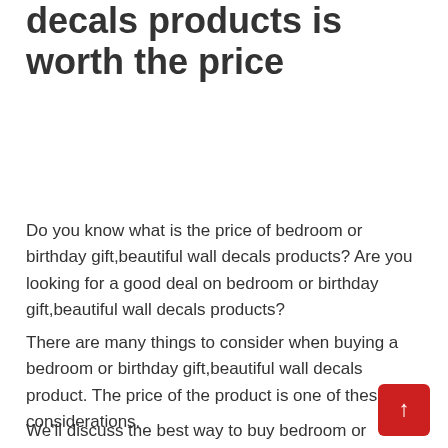decals products is worth the price
Do you know what is the price of bedroom or birthday gift,beautiful wall decals products? Are you looking for a good deal on bedroom or birthday gift,beautiful wall decals products?
There are many things to consider when buying a bedroom or birthday gift,beautiful wall decals product. The price of the product is one of these considerations.
We'll discuss the best way to buy bedroom or birthday gift,beautiful wall decals products, finding out if th worth buying or not, and how to get discounts. After you're done reading this article, you should be able to